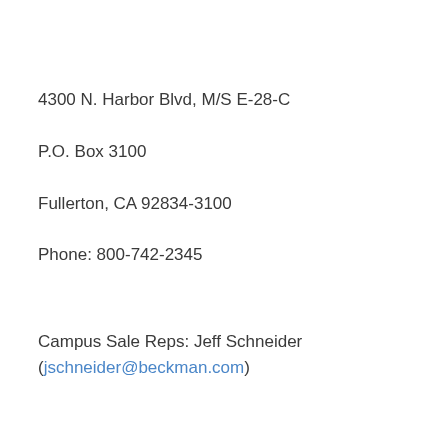4300 N. Harbor Blvd, M/S E-28-C
P.O. Box 3100
Fullerton, CA 92834-3100
Phone: 800-742-2345
Campus Sale Reps: Jeff Schneider
(jschneider@beckman.com)